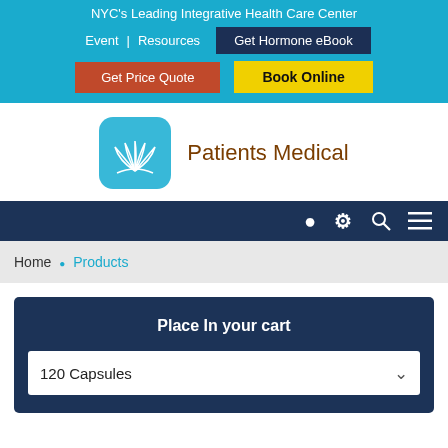NYC's Leading Integrative Health Care Center
Event | Resources  Get Hormone eBook
Get Price Quote  Book Online
[Figure (logo): Patients Medical logo: teal rounded-square icon with white lotus flower, followed by text 'Patients Medical' in brown]
Search and Menu icons
Home › Products
Place In your cart
120 Capsules